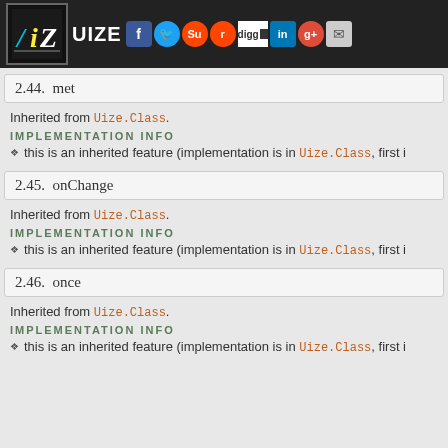UIZE [social share icons]
2.44.  met
Inherited from Uize.Class.
IMPLEMENTATION INFO
this is an inherited feature (implementation is in Uize.Class, first i...
2.45.  onChange
Inherited from Uize.Class.
IMPLEMENTATION INFO
this is an inherited feature (implementation is in Uize.Class, first i...
2.46.  once
Inherited from Uize.Class.
IMPLEMENTATION INFO
this is an inherited feature (implementation is in Uize.Class, first i...